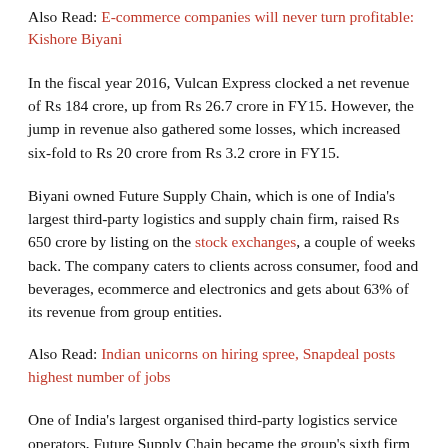Also Read: E-commerce companies will never turn profitable: Kishore Biyani
In the fiscal year 2016, Vulcan Express clocked a net revenue of Rs 184 crore, up from Rs 26.7 crore in FY15. However, the jump in revenue also gathered some losses, which increased six-fold to Rs 20 crore from Rs 3.2 crore in FY15.
Biyani owned Future Supply Chain, which is one of India’s largest third-party logistics and supply chain firm, raised Rs 650 crore by listing on the stock exchanges, a couple of weeks back. The company caters to clients across consumer, food and beverages, ecommerce and electronics and gets about 63% of its revenue from group entities.
Also Read: Indian unicorns on hiring spree, Snapdeal posts highest number of jobs
One of India’s largest organised third-party logistics service operators, Future Supply Chain became the group’s sixth firm to go public. Other listed firms are Future Retail, Future Consumer, Future Market Networks, Future Enterprises and